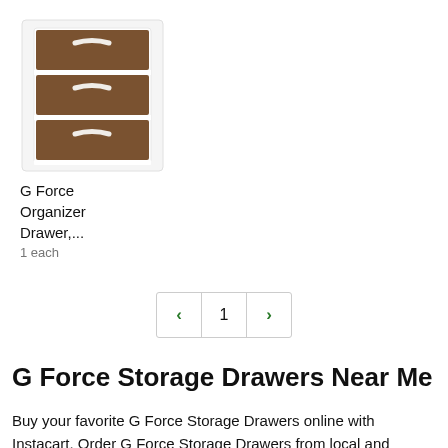[Figure (photo): Product photo of G Force Organizer Drawer with three brown fabric drawers with white handles and white frame]
G Force Organizer Drawer,...
1 each
< 1 >
G Force Storage Drawers Near Me
Buy your favorite G Force Storage Drawers online with Instacart. Order G Force Storage Drawers from local and